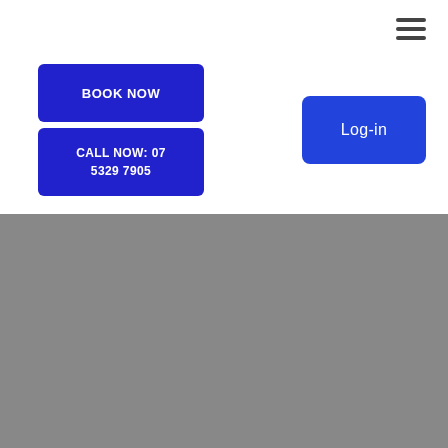[Figure (infographic): Hamburger menu icon (three horizontal dark lines) in top-right corner of white navigation bar]
[Figure (infographic): Blue 'BOOK NOW' button in upper-left area of white navigation section]
[Figure (infographic): Blue 'CALL NOW: 07 5329 7905' button below the BOOK NOW button]
[Figure (infographic): Blue 'Log-in' button on the right side of white navigation section]
ANF: A Revolutionary Healthcare